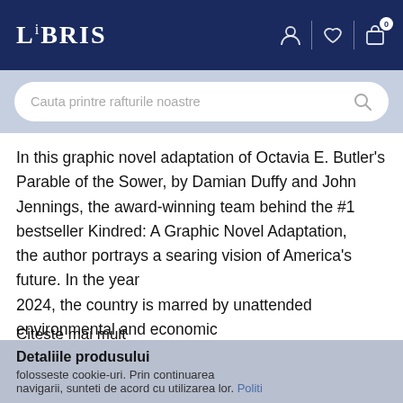LIBRIS
In this graphic novel adaptation of Octavia E. Butler's Parable of the Sower, by Damian Duffy and John Jennings, the award-winning team behind the #1 bestseller Kindred: A Graphic Novel Adaptation, the author portrays a searing vision of America's future. In the year 2024, the country is marred by unattended environmental and economic crises that lead to social chaos. Lauren Olamina, a preacher's daughter
Citeste mai mult
Detaliile produsului
folosseste cookie-uri. Prin continuarea navigarii, sunteti de acord cu utilizarea lor. Politi...